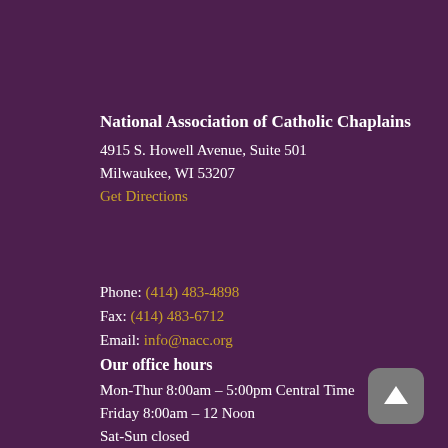National Association of Catholic Chaplains
4915 S. Howell Avenue, Suite 501
Milwaukee, WI 53207
Get Directions
Phone: (414) 483-4898
Fax: (414) 483-6712
Email: info@nacc.org
Our office hours
Mon-Thur 8:00am – 5:00pm Central Time
Friday 8:00am – 12 Noon
Sat-Sun closed